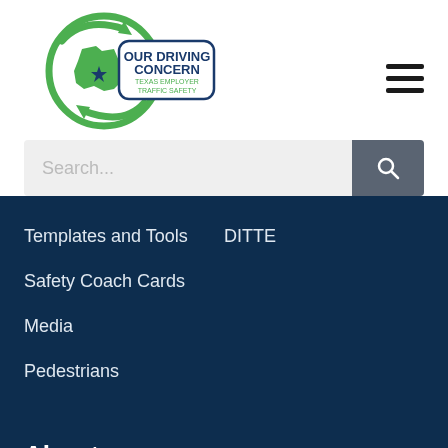[Figure (logo): Our Driving Concern – Texas Employer Traffic Safety logo with green circular arrow, Texas map outline, and blue star]
Templates and Tools
DITTE
Safety Coach Cards
Media
Pedestrians
About
Why ODC Works!